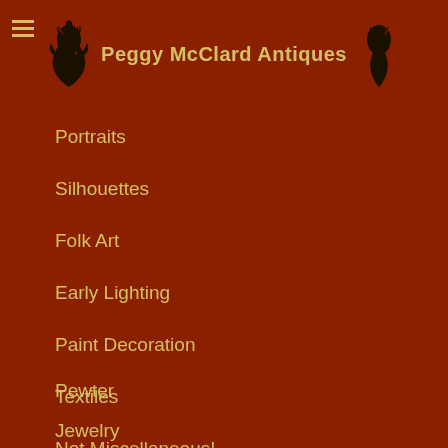Peggy McClard Antiques
Portraits
Silhouettes
Folk Art
Early Lighting
Paint Decoration
Textiles
Not Miscellaneous!
Pewter
Jewelry